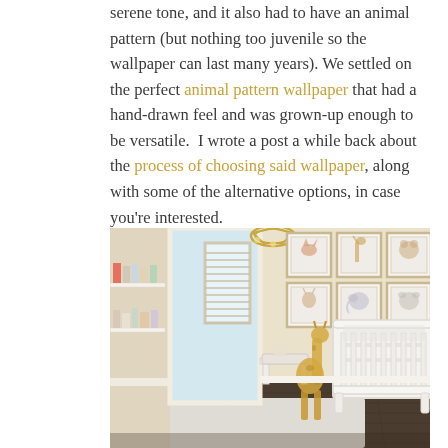serene tone, and it also had to have an animal pattern (but nothing too juvenile so the wallpaper can last many years). We settled on the perfect animal pattern wallpaper that had a hand-drawn feel and was grown-up enough to be versatile. I wrote a post a while back about the process of choosing said wallpaper, along with some of the alternative options, in case you're interested.
[Figure (photo): A bright, neutral-toned nursery room featuring a white baby crib, a wall gallery of six framed animal prints (fox, giraffe, bear, deer, elephant, koala), a stuffed giraffe toy, a white bench, shelves with books and toys on the left wall, dark hardwood floors, a large white area rug, textured wallpaper, and a round gold chandelier.]